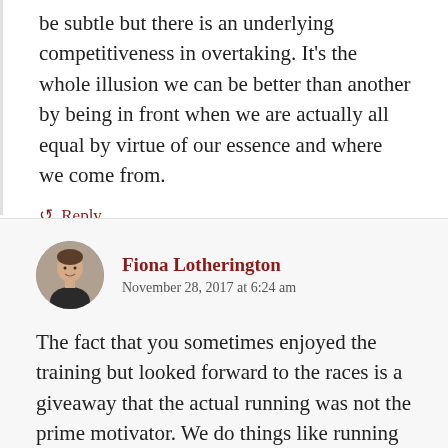be subtle but there is an underlying competitiveness in overtaking. It's the whole illusion we can be better than another by being in front when we are actually all equal by virtue of our essence and where we come from.
Reply
Fiona Lotherington
November 28, 2017 at 6:24 am
The fact that you sometimes enjoyed the training but looked forward to the races is a giveaway that the actual running was not the prime motivator. We do things like running that our body actually feels abused by, for recognition, to feel good about ourselves